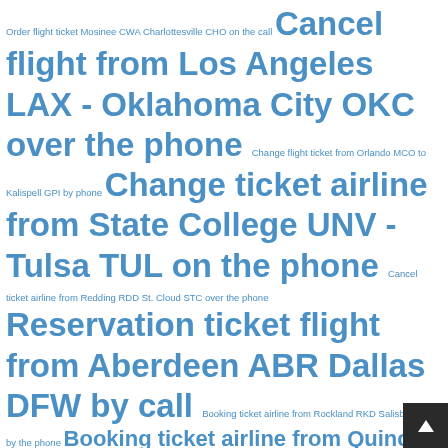Order flight ticket Mosinee CWA Charlottesville CHO on the call Cancel flight from Los Angeles LAX - Oklahoma City OKC over the phone Change flight ticket from Orlando MCO to Kalispell GPI by phone Change ticket airline from State College UNV - Tulsa TUL on the phone Cancel ticket airline from Redding RDD St. Cloud STC over the phone Reservation ticket flight from Aberdeen ABR Dallas DFW by call Booking ticket airline from Rockland RKD Salisbury SBY by the phone Booking ticket airline from Quincy UIN Charlotte Amalie, ❖St. Thomas STT over phone Cancel ticket flight Des Moines DSM Salt Lake City SLC by the phone Book ticket flight from Lexington LEX - Pago Pago, ❖Tutuila PPG by phone